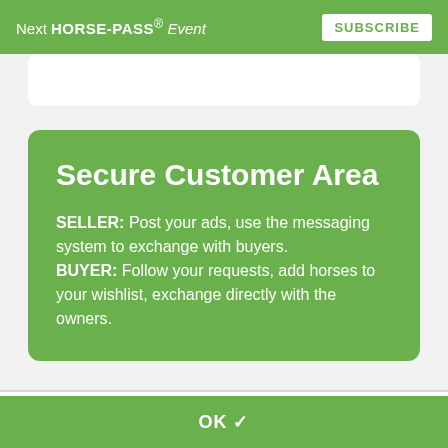Next HORSE-PASS® Event   SUBSCRIBE
Secure Customer Area
SELLER: Post your ads, use the messaging system to exchange with buyers.
BUYER: Follow your requests, add horses to your wishlist, exchange directly with the owners.
We use cookies to ensure the best experience on our site. If you continue to use our site, we will assume that you accept the use of cookies.
OK ✓